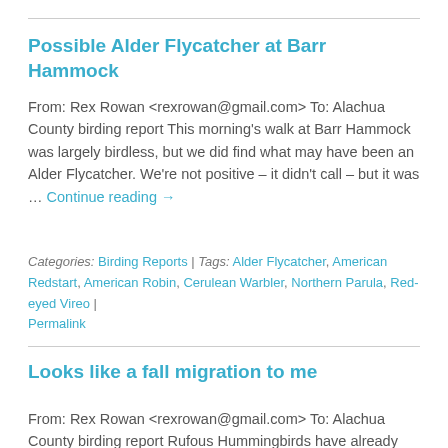Possible Alder Flycatcher at Barr Hammock
From: Rex Rowan <rexrowan@gmail.com> To: Alachua County birding report This morning's walk at Barr Hammock was largely birdless, but we did find what may have been an Alder Flycatcher. We're not positive – it didn't call – but it was … Continue reading →
Categories: Birding Reports | Tags: Alder Flycatcher, American Redstart, American Robin, Cerulean Warbler, Northern Parula, Red-eyed Vireo | Permalink
Looks like a fall migration to me
From: Rex Rowan <rexrowan@gmail.com> To: Alachua County birding report Rufous Hummingbirds have already returned to two local feeders. Both are adult males. One